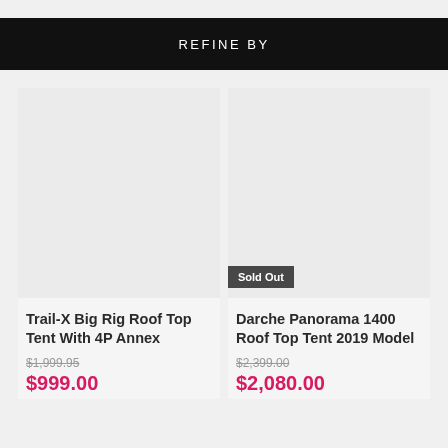REFINE BY
Trail-X Big Rig Roof Top Tent With 4P Annex
$1,999.95
$999.00
Sold Out
Darche Panorama 1400 Roof Top Tent 2019 Model
$2,399.00
$2,080.00